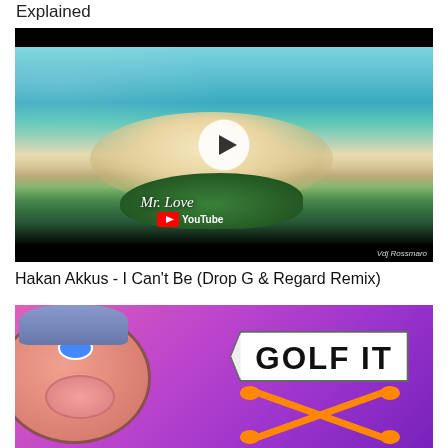Explained
[Figure (screenshot): YouTube video thumbnail showing aerial view of a tropical island with turquoise water, sand, and green vegetation. A white play button circle is centered. Text reads 'Mr. Love' with a YouTube logo and watermark 'Vdj Rossmaro'.]
Hakan Akkus - I Can't Be (Drop G & Regard Remix)
[Figure (illustration): Colorful cartoon illustration showing an animated pig character face on the left with a 'GOLF IT' banner sign with crossed golf clubs on a purple/pink gradient background.]